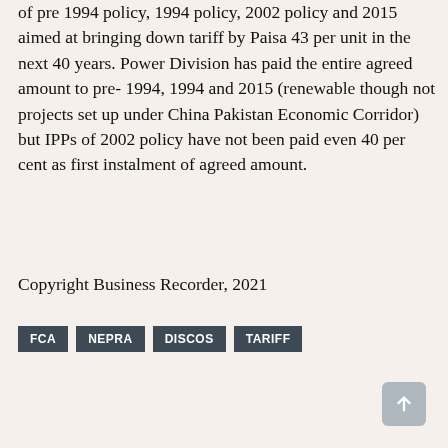of pre 1994 policy, 1994 policy, 2002 policy and 2015 aimed at bringing down tariff by Paisa 43 per unit in the next 40 years. Power Division has paid the entire agreed amount to pre- 1994, 1994 and 2015 (renewable though not projects set up under China Pakistan Economic Corridor) but IPPs of 2002 policy have not been paid even 40 per cent as first instalment of agreed amount.
Copyright Business Recorder, 2021
FCA
NEPRA
DISCOS
TARIFF